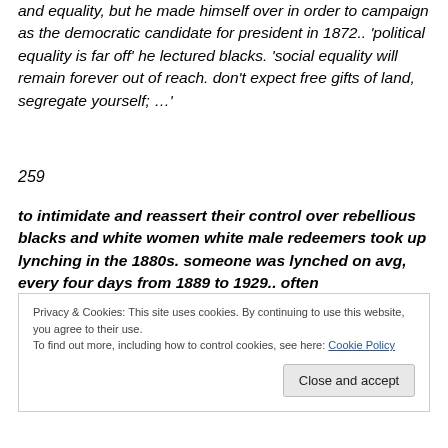and equality, but he made himself over in order to campaign as the democratic candidate for president in 1872.. 'political equality is far off' he lectured blacks. 'social equality will remain forever out of reach. don't expect free gifts of land, segregate yourself; …'
259
to intimidate and reassert their control over rebellious blacks and white women white male redeemers took up lynching in the 1880s. someone was lynched on avg, every four days from 1889 to 1929.. often
Privacy & Cookies: This site uses cookies. By continuing to use this website, you agree to their use.
To find out more, including how to control cookies, see here: Cookie Policy